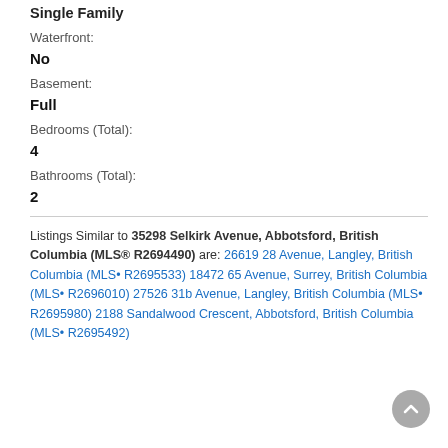Single Family
Waterfront:
No
Basement:
Full
Bedrooms (Total):
4
Bathrooms (Total):
2
Listings Similar to 35298 Selkirk Avenue, Abbotsford, British Columbia (MLS® R2694490) are: 26619 28 Avenue, Langley, British Columbia (MLS• R2695533) 18472 65 Avenue, Surrey, British Columbia (MLS• R2696010) 27526 31b Avenue, Langley, British Columbia (MLS• R2695980) 2188 Sandalwood Crescent, Abbotsford, British Columbia (MLS• R2695492)